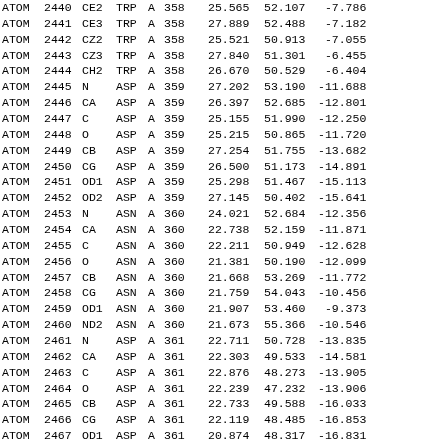| record | serial | name | res | chain | resseq | x | y | z | more |
| --- | --- | --- | --- | --- | --- | --- | --- | --- | --- |
| ATOM | 2440 | CE2 | TRP | A | 358 | 25.565 | 52.107 | -7.786 |  |
| ATOM | 2441 | CE3 | TRP | A | 358 | 27.889 | 52.488 | -7.182 |  |
| ATOM | 2442 | CZ2 | TRP | A | 358 | 25.521 | 50.913 | -7.055 |  |
| ATOM | 2443 | CZ3 | TRP | A | 358 | 27.840 | 51.301 | -6.455 |  |
| ATOM | 2444 | CH2 | TRP | A | 358 | 26.670 | 50.529 | -6.404 |  |
| ATOM | 2445 | N | ASP | A | 359 | 27.202 | 53.190 | -11.688 |  |
| ATOM | 2446 | CA | ASP | A | 359 | 26.397 | 52.685 | -12.801 |  |
| ATOM | 2447 | C | ASP | A | 359 | 25.155 | 51.990 | -12.250 |  |
| ATOM | 2448 | O | ASP | A | 359 | 25.215 | 50.865 | -11.720 |  |
| ATOM | 2449 | CB | ASP | A | 359 | 27.254 | 51.755 | -13.682 |  |
| ATOM | 2450 | CG | ASP | A | 359 | 26.500 | 51.173 | -14.891 |  |
| ATOM | 2451 | OD1 | ASP | A | 359 | 25.298 | 51.467 | -15.113 |  |
| ATOM | 2452 | OD2 | ASP | A | 359 | 27.145 | 50.402 | -15.641 |  |
| ATOM | 2453 | N | ASN | A | 360 | 24.021 | 52.684 | -12.356 |  |
| ATOM | 2454 | CA | ASN | A | 360 | 22.738 | 52.159 | -11.871 |  |
| ATOM | 2455 | C | ASN | A | 360 | 22.211 | 50.949 | -12.628 |  |
| ATOM | 2456 | O | ASN | A | 360 | 21.381 | 50.190 | -12.099 |  |
| ATOM | 2457 | CB | ASN | A | 360 | 21.668 | 53.269 | -11.772 |  |
| ATOM | 2458 | CG | ASN | A | 360 | 21.759 | 54.043 | -10.456 |  |
| ATOM | 2459 | OD1 | ASN | A | 360 | 21.907 | 53.460 | -9.373 |  |
| ATOM | 2460 | ND2 | ASN | A | 360 | 21.673 | 55.366 | -10.546 |  |
| ATOM | 2461 | N | ASP | A | 361 | 22.711 | 50.728 | -13.835 |  |
| ATOM | 2462 | CA | ASP | A | 361 | 22.303 | 49.533 | -14.581 |  |
| ATOM | 2463 | C | ASP | A | 361 | 22.876 | 48.273 | -13.905 |  |
| ATOM | 2464 | O | ASP | A | 361 | 22.239 | 47.232 | -13.906 |  |
| ATOM | 2465 | CB | ASP | A | 361 | 22.733 | 49.588 | -16.033 |  |
| ATOM | 2466 | CG | ASP | A | 361 | 22.119 | 48.485 | -16.853 |  |
| ATOM | 2467 | OD1 | ASP | A | 361 | 20.874 | 48.317 | -16.831 |  |
| ATOM | 2468 | OD2 | ASP | A | 361 | 22.896 | 47.758 | -17.500 |  |
| ATOM | 2469 | N | LEU | A | 362 | 24.056 | 48.296 | -13.316 |  |